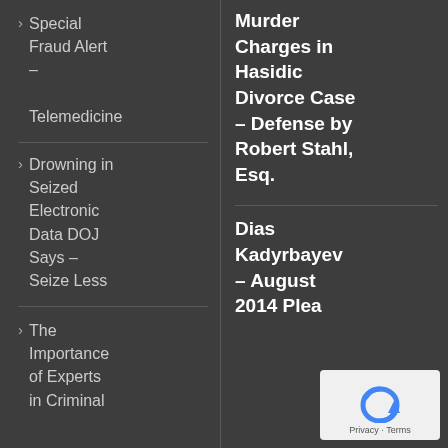Special Fraud Alert – Telemedicine
Drowning in Seized Electronic Data DOJ Says – Seize Less
The Importance of Experts in Criminal
Murder Charges in Hasidic Divorce Case – Defense by Robert Stahl, Esq.
Dias Kadyrbayev – August 2014 Plea
[Figure (other): reCAPTCHA widget showing a circular arrow icon with text 'Privacy - Terms']